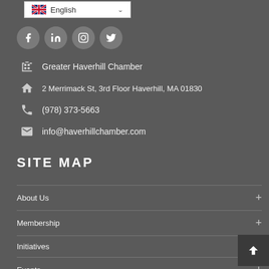[Figure (screenshot): Language selector dropdown showing UK flag and 'English' with a down chevron]
[Figure (infographic): Social media icons: Facebook, LinkedIn, Instagram, Twitter in circular grey buttons]
Greater Haverhill Chamber
2 Merrimack St, 3rd Floor Haverhill, MA 01830
(978) 373-5663
info@haverhillchamber.com
SITE MAP
About Us
Membership
Initiatives
Events
Community
News